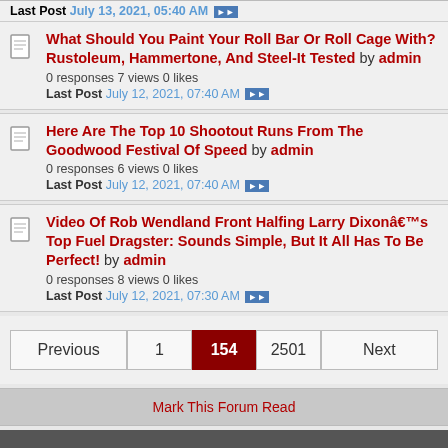Last Post July 13, 2021, 05:40 AM
What Should You Paint Your Roll Bar Or Roll Cage With? Rustoleum, Hammertone, And Steel-It Tested by admin
0 responses 7 views 0 likes
Last Post July 12, 2021, 07:40 AM
Here Are The Top 10 Shootout Runs From The Goodwood Festival Of Speed by admin
0 responses 6 views 0 likes
Last Post July 12, 2021, 07:40 AM
Video Of Rob Wendland Front Halfing Larry Dixonâ€™s Top Fuel Dragster: Sounds Simple, But It All Has To Be Perfect! by admin
0 responses 8 views 0 likes
Last Post July 12, 2021, 07:30 AM
Previous 1 154 2501 Next
Mark This Forum Read